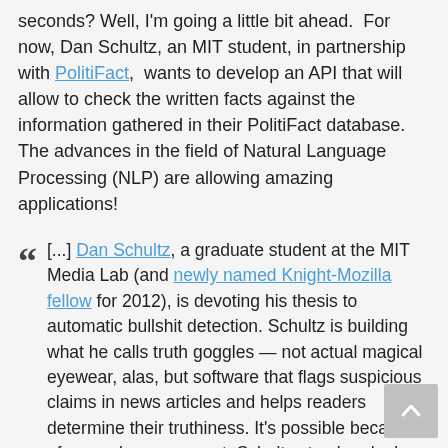seconds? Well, I'm going a little bit ahead.  For now, Dan Schultz, an MIT student, in partnership with PolitiFact,  wants to develop an API that will allow to check the written facts against the information gathered in their PolitiFact database.  The advances in the field of Natural Language Processing (NLP) are allowing amazing applications!
[...] Dan Schultz, a graduate student at the MIT Media Lab (and newly named Knight-Mozilla fellow for 2012), is devoting his thesis to automatic bullshit detection. Schultz is building what he calls truth goggles — not actual magical eyewear, alas, but software that flags suspicious claims in news articles and helps readers determine their truthiness. It's possible because of a novel arrangement: Schultz struck a deal with fact-checker PolitiFact for access to its private APIs.If you had the